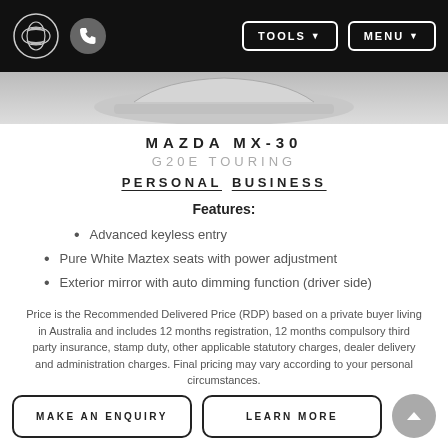TOOLS  MENU
[Figure (photo): Partial view of a Mazda MX-30 vehicle (grey car visible at top edge)]
MAZDA MX-30
G20E TOURING
PERSONAL   BUSINESS
Features:
Advanced keyless entry
Pure White Maztex seats with power adjustment
Exterior mirror with auto dimming function (driver side)
Price is the Recommended Delivered Price (RDP) based on a private buyer living in Australia and includes 12 months registration, 12 months compulsory third party insurance, stamp duty, other applicable statutory charges, dealer delivery and administration charges. Final pricing may vary according to your personal circumstances.
MAKE AN ENQUIRY
LEARN MORE